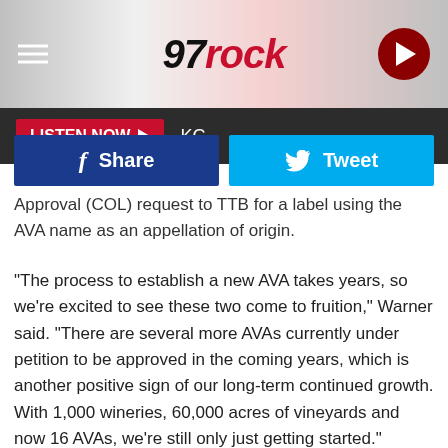97 Rock — LISTEN NOW KC
[Figure (screenshot): 97 Rock radio station website header with hamburger menu, 97 Rock logo, and play button on dark red/pink gradient background. Below is a dark bar with LISTEN NOW button and KC text. Social share buttons for Facebook Share and Tweet.]
Approval (COL) request to TTB for a label using the AVA name as an appellation of origin.
“The process to establish a new AVA takes years, so we’re excited to see these two come to fruition,” Warner said. “There are several more AVAs currently under petition to be approved in the coming years, which is another positive sign of our long-term continued growth. With 1,000 wineries, 60,000 acres of vineyards and now 16 AVAs, we’re still only just getting started.”